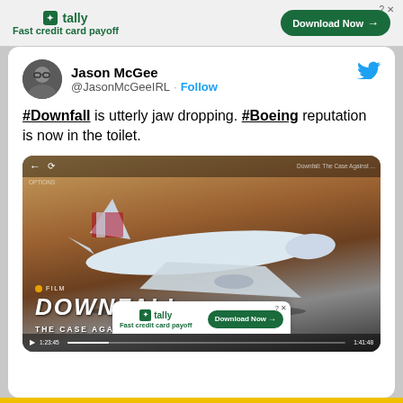[Figure (screenshot): Tally advertisement banner at top: tally logo, 'Fast credit card payoff' tagline, and 'Download Now →' button]
Jason McGee @JasonMcGeeIRL · Follow
#Downfall is utterly jaw dropping. #Boeing reputation is now in the toilet.
[Figure (screenshot): Screenshot of a Netflix/streaming video playing 'DOWNFALL: THE CASE AGAINST BOEING' documentary film, showing an American Airlines plane on a runway. Video shows film badge with orange dot, title DOWNFALL in large italic letters, subtitle THE CASE AGAINST BOEING.]
[Figure (screenshot): Bottom Tally advertisement: tally logo, 'Fast credit card payoff', 'Download Now →' button]